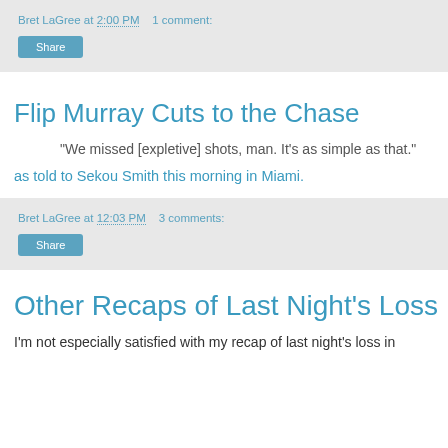Bret LaGree at 2:00 PM   1 comment:
Share
Flip Murray Cuts to the Chase
"We missed [expletive] shots, man. It’s as simple as that."
as told to Sekou Smith this morning in Miami.
Bret LaGree at 12:03 PM   3 comments:
Share
Other Recaps of Last Night's Loss
I'm not especially satisfied with my recap of last night's loss in